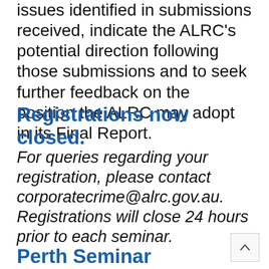issues identified in submissions received, indicate the ALRC's potential direction following those submissions and to seek further feedback on the position the ALRC may adopt in its Final Report.
Registrations now closed.
For queries regarding your registration, please contact corporatecrime@alrc.gov.au. Registrations will close 24 hours prior to each seminar.
Perth Seminar